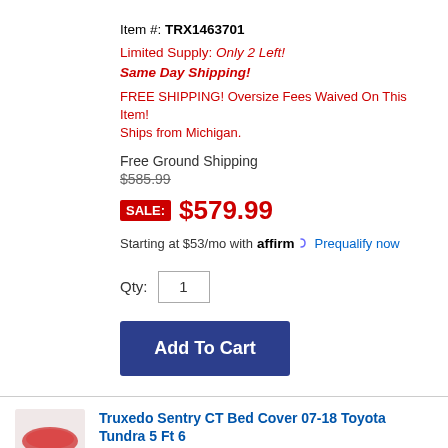Item #: TRX1463701
Limited Supply: Only 2 Left!
Same Day Shipping!
FREE SHIPPING! Oversize Fees Waived On This Item! Ships from Michigan.
Free Ground Shipping
$585.99
SALE: $579.99
Starting at $53/mo with affirm Prequalify now
Qty: 1
Add To Cart
Truxedo Sentry CT Bed Cover 07-18 Toyota Tundra 5 Ft 6